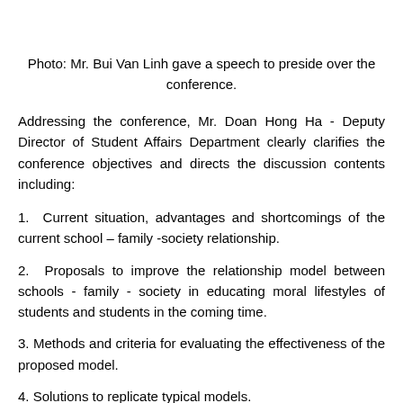Photo: Mr. Bui Van Linh gave a speech to preside over the conference.
Addressing the conference, Mr. Doan Hong Ha - Deputy Director of Student Affairs Department clearly clarifies the conference objectives and directs the discussion contents including:
1.  Current situation, advantages and shortcomings of the current school – family -society relationship.
2.  Proposals to improve the relationship model between schools - family - society in educating moral lifestyles of students and students in the coming time.
3. Methods and criteria for evaluating the effectiveness of the proposed model.
4. Solutions to replicate typical models.